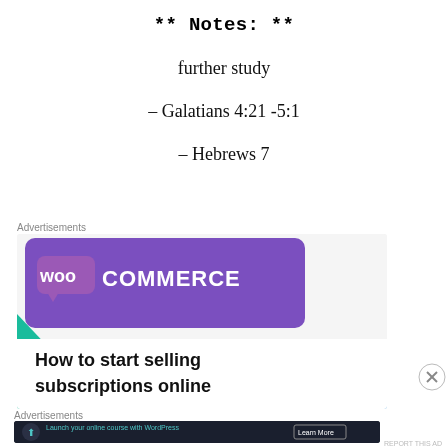** Notes: **
further study
– Galatians 4:21 -5:1
– Hebrews 7
Advertisements
[Figure (illustration): WooCommerce advertisement banner: purple gradient background with WooCommerce logo (speech bubble with 'woo' in white), teal/green triangle shape on left, light blue arc on bottom right, text 'How to start selling subscriptions online' in bold black on white area]
Advertisements
[Figure (illustration): Dark navy advertisement banner: circular icon with person and upload arrow, text 'Launch your online course with WordPress', 'Learn More' button on right, small 'REPORT THIS AD' text at bottom right]